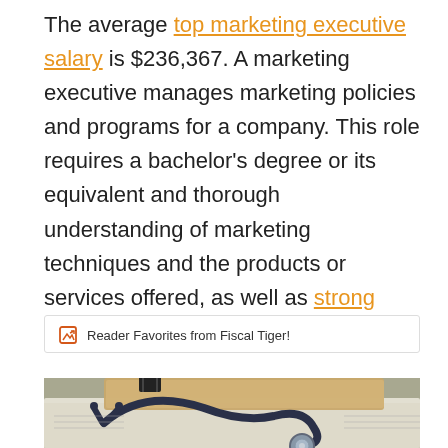The average top marketing executive salary is $236,367. A marketing executive manages marketing policies and programs for a company. This role requires a bachelor's degree or its equivalent and thorough understanding of marketing techniques and the products or services offered, as well as strong leadership skills.
Reader Favorites from Fiscal Tiger!
[Figure (photo): A stethoscope resting on a manila folder and medical/financial paperwork on a desk]